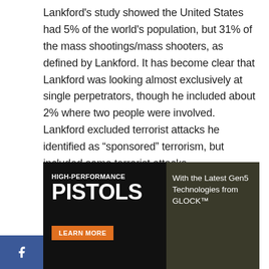Lankford's study showed the United States had 5% of the world's population, but 31% of the mass shootings/mass shooters, as defined by Lankford. It has become clear that Lankford was looking almost exclusively at single perpetrators, though he included about 2% where two people were involved. Lankford excluded terrorist attacks he identified as "sponsored" terrorism, but included some terrorist attacks.
[Figure (photo): Advertisement banner for Glock pistols with dark background. Left side shows 'HIGH-PERFORMANCE PISTOLS' text with 'LEARN MORE' orange button. Right side shows 'With the Latest Gen5 Technologies from GLOCK™'. Bottom portion shows image of a Glock pistol.]
[Figure (other): Social media sharing bar with Facebook (blue), Twitter (light blue), Reddit (gray), and email (gray) icon buttons.]